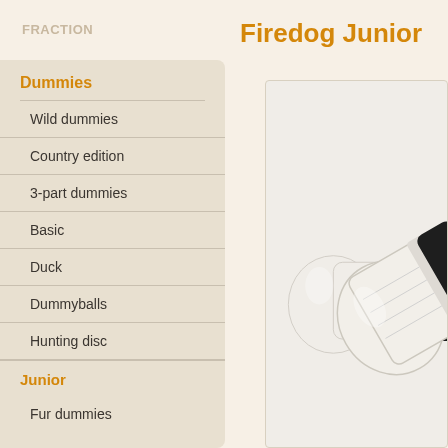FRACTION
Firedog Junior
Dummies
Wild dummies
Country edition
3-part dummies
Basic
Duck
Dummyballs
Hunting disc
Junior
Fur dummies
[Figure (photo): A dog training dummy/retrieve dummy, white and black colored, cylindrical shape, shown at an angle against a light background]